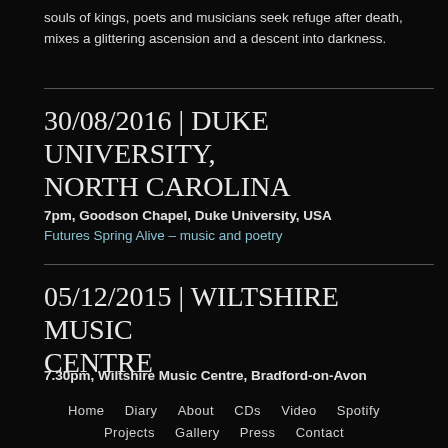souls of kings, poets and musicians seek refuge after death, mixes a glittering ascension and a descent into darkness.
30/08/2016 | DUKE UNIVERSITY, NORTH CAROLINA
7pm, Goodson Chapel, Duke University, USA
Futures Spring Alive – music and poetry
05/12/2015 | WILTSHIRE MUSIC CENTRE
7.30pm, Wiltshire Music Centre, Bradford-on-Avon
Home   Diary   About   CDs   Video   Spotify   Projects   Gallery   Press   Contact